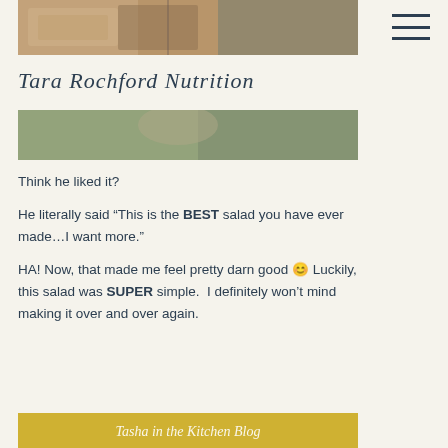[Figure (photo): Top partial photo showing a bedroom or store interior with furniture and shelving]
[Figure (other): Hamburger menu icon (three horizontal lines) in top right corner]
Tara Rochford Nutrition
[Figure (photo): Photo showing a person's hands, possibly preparing or eating food, wearing a green sweater]
Think he liked it?
He literally said “This is the BEST salad you have ever made…I want more.”
HA! Now, that made me feel pretty darn good 😊 Luckily, this salad was SUPER simple.  I definitely won’t mind making it over and over again.
[Figure (photo): Partial bottom image with yellow/golden background and cursive text reading something like 'Tasha in the Kitchen Blog']